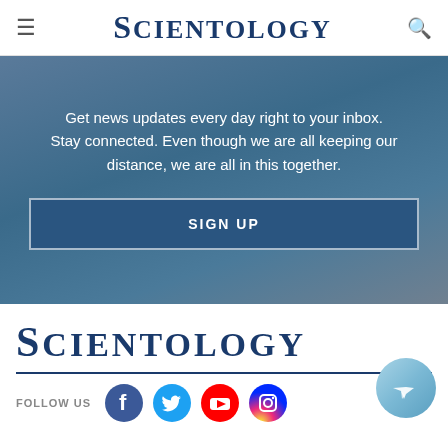SCIENTOLOGY
Get news updates every day right to your inbox. Stay connected. Even though we are all keeping our distance, we are all in this together.
SIGN UP
[Figure (logo): Scientology logo in dark blue serif font]
FOLLOW US
[Figure (infographic): Social media icons: Facebook, Twitter, YouTube, Instagram]
What is Scientology?
Online Courses